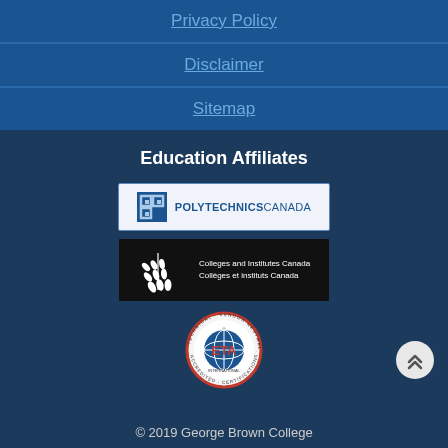Privacy Policy
Disclaimer
Sitemap
Education Affiliates
[Figure (logo): Polytechnics Canada logo with stylized P icon and blue text reading POLYTECHNICS CANADA]
[Figure (logo): Colleges and Institutes Canada logo on black background with white wheat/leaf design and text: Colleges and Institutes Canada / Collèges et instituts Canada]
[Figure (logo): ETA International circular badge logo with red ETA text, globe graphic, and text reading TECHNICAL VENDOR NEUTRAL CERTIFICATIONS ACCREDITED]
© 2019 George Brown College